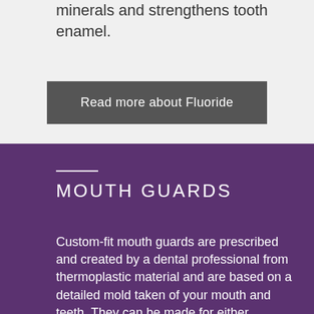minerals and strengthens tooth enamel.
Read more about Fluoride
MOUTH GUARDS
Custom-fit mouth guards are prescribed and created by a dental professional from thermoplastic material and are based on a detailed mold taken of your mouth and teeth. They can be made for either